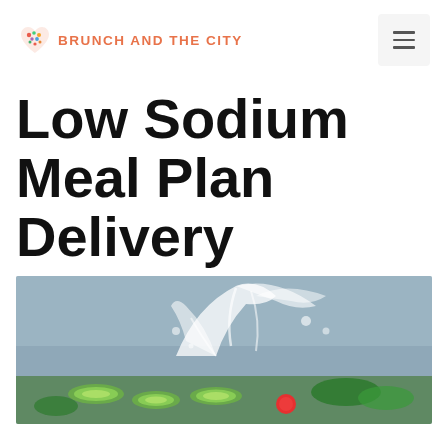BRUNCH AND THE CITY
Low Sodium Meal Plan Delivery
[Figure (photo): Hero image of fresh vegetables including cucumber slices, tomatoes, and greens with a dramatic water splash on a grey-blue background]